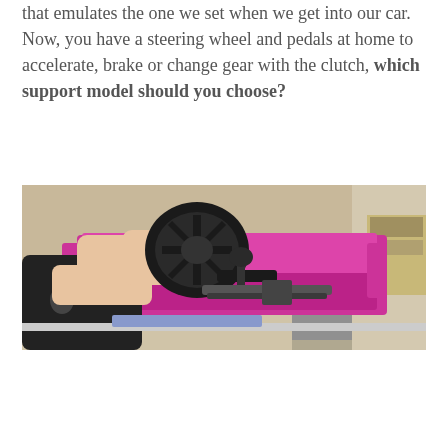that emulates the one we set when we get into our car. Now, you have a steering wheel and pedals at home to accelerate, brake or change gear with the clutch, which support model should you choose?
[Figure (photo): Person holding a racing steering wheel controller with a gear shifter mounted on a desk in a living room with a pink/magenta sofa in the background.]